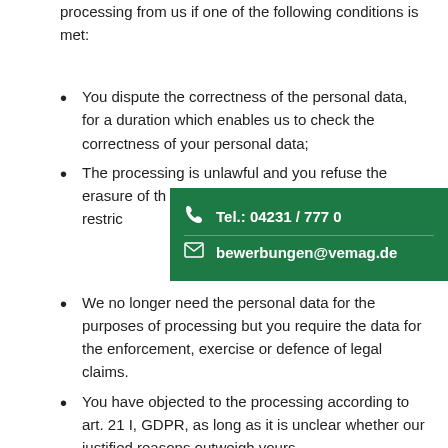processing from us if one of the following conditions is met:
You dispute the correctness of the personal data, for a duration which enables us to check the correctness of your personal data;
The processing is unlawful and you refuse the erasure of the data and instead demand a restriction of the processing of the data.
We no longer need the personal data for the purposes of processing but you require the data for the enforcement, exercise or defence of legal claims.
You have objected to the processing according to art. 21 I, GDPR, as long as it is unclear whether our justified reasons outweigh yours.
[Figure (infographic): Green popup overlay with phone number Tel.: 04231 / 777 0 and email bewerbungen@vemag.de]